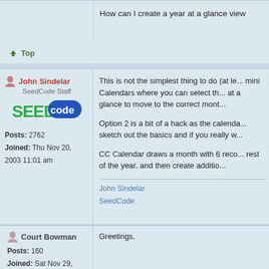How can I create a year at a glance view
Top
John Sindelar
SeedCode Staff
Posts: 2762
Joined: Thu Nov 20, 2003 11:01 am
This is not the simplest thing to do (at le... mini Calendars where you can select th... at a glance to move to the correct mont...

Option 2 is a bit of a hack as the calenda... sketch out the basics and if you really w...

CC Calendar draws a month with 6 reco... rest of the year, and then create additio...
John Sindelar
SeedCode
Top
Court Bowman
Posts: 160
Joined: Sat Nov 29, 2003 12:26 pm
Location: Columbus, OH
Greetings,